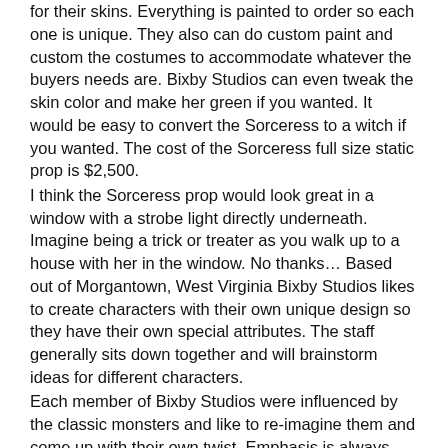for their skins. Everything is painted to order so each one is unique. They also can do custom paint and custom the costumes to accommodate whatever the buyers needs are. Bixby Studios can even tweak the skin color and make her green if you wanted. It would be easy to convert the Sorceress to a witch if you wanted. The cost of the Sorceress full size static prop is $2,500.
I think the Sorceress prop would look great in a window with a strobe light directly underneath. Imagine being a trick or treater as you walk up to a house with her in the window. No thanks… Based out of Morgantown, West Virginia Bixby Studios likes to create characters with their own unique design so they have their own special attributes. The staff generally sits down together and will brainstorm ideas for different characters.
Each member of Bixby Studios were influenced by the classic monsters and like to re-imagine them and come up with their own twist. Emphasis is always placed on creating a realistic presentation of their characters.
Bixby Studios creations can be ordered through them directly